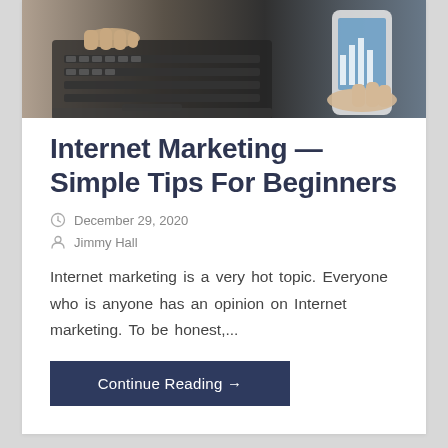[Figure (photo): Overhead photo of hands typing on a laptop keyboard, with another person holding a smartphone in the background]
Internet Marketing — Simple Tips For Beginners
December 29, 2020
Jimmy Hall
Internet marketing is a very hot topic. Everyone who is anyone has an opinion on Internet marketing. To be honest,...
Continue Reading →